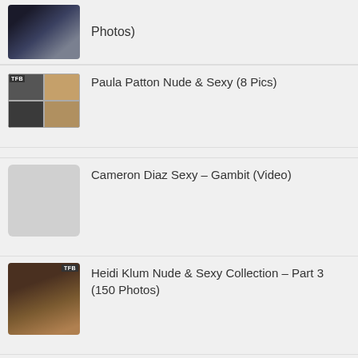[Figure (photo): Thumbnail image of a woman with blonde hair in patterned outfit]
Photos)
[Figure (photo): Grid thumbnail collage with dark and warm-toned images]
Paula Patton Nude & Sexy (8 Pics)
[Figure (photo): Gray placeholder box thumbnail]
Cameron Diaz Sexy – Gambit (Video)
[Figure (photo): Thumbnail of person covered in bronze/gold body paint]
Heidi Klum Nude & Sexy Collection – Part 3 (150 Photos)
[Figure (photo): Thumbnail of woman performing on stage with purple lighting]
Rihanna Nude & Sexy Collection – Part 3 (150 Photos)